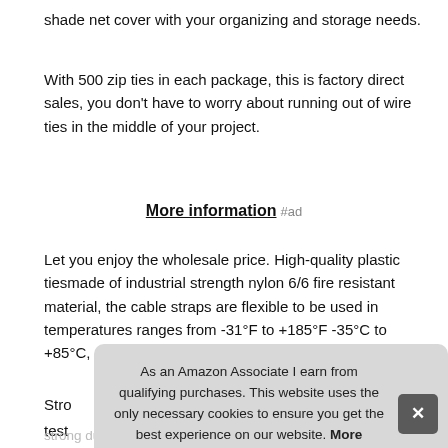shade net cover with your organizing and storage needs.
With 500 zip ties in each package, this is factory direct sales, you don't have to worry about running out of wire ties in the middle of your project.
More information #ad
Let you enjoy the wholesale price. High-quality plastic tiesmade of industrial strength nylon 6/6 fire resistant material, the cable straps are flexible to be used in temperatures ranges from -31°F to +185°F -35°C to +85°C, uv resistant for outdoor.
Stro test Rat use strong durable powerful lock, easy handling and prevent
As an Amazon Associate I earn from qualifying purchases. This website uses the only necessary cookies to ensure you get the best experience on our website. More information